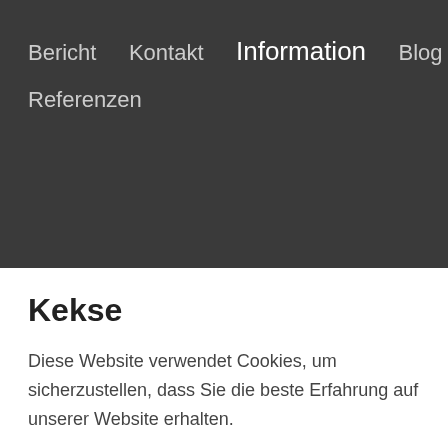Bericht
Kontakt
Information
Blog
Referenzen
Kekse
Diese Website verwendet Cookies, um sicherzustellen, dass Sie die beste Erfahrung auf unserer Website erhalten.